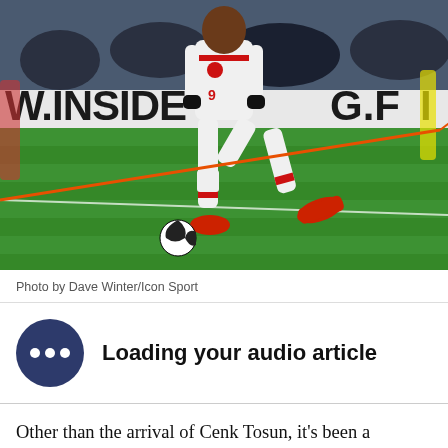[Figure (photo): Football player in white kit with red accents kicking a ball on a green pitch. Stadium advertising boards visible in background reading 'W.INSIDE G.FI'. Player wearing red boots mid-kick.]
Photo by Dave Winter/Icon Sport
Loading your audio article
Other than the arrival of Cenk Tosun, it's been a perplexing few weeks for Everton fans following the ups and downs of the transfer market. The Blues have